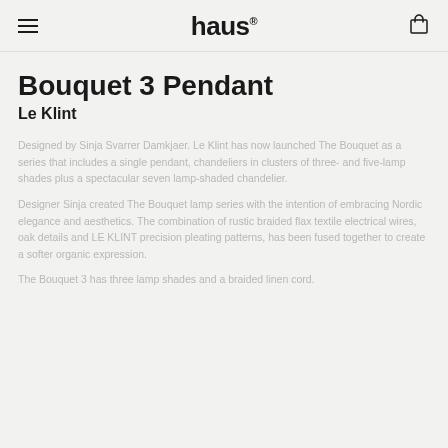haus®
Bouquet 3 Pendant
Le Klint
Designed by Sinja Svarrer Damkjaer. Le Klint has now launched The Bouquet as a series that includes a single pendant, chandeliers in clusters of three- and five-lamp shades plus a spectacular seven lamp-shaded chandelier.
Designer Sinja created The Bouquet lamp series with the intention of embracing Nordic elegance and aesthetics. The combination of rustic braided flax textile electrical wires, oak details and LE KLINT precision pleating patterns, has been fused together to create a softer organic expression.
The Bouquet 3 has three lamp shades and a braided linen cord.